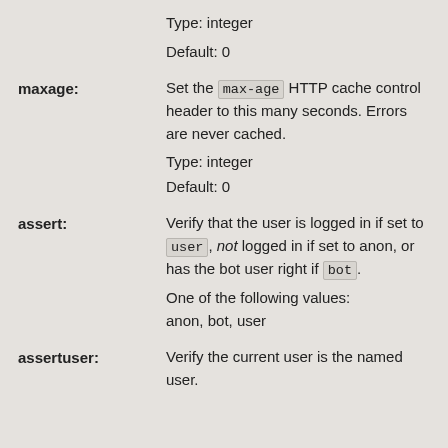Type: integer
Default: 0
maxage: Set the max-age HTTP cache control header to this many seconds. Errors are never cached. Type: integer Default: 0
assert: Verify that the user is logged in if set to user, not logged in if set to anon, or has the bot user right if bot. One of the following values: anon, bot, user
assertuser: Verify the current user is the named user.